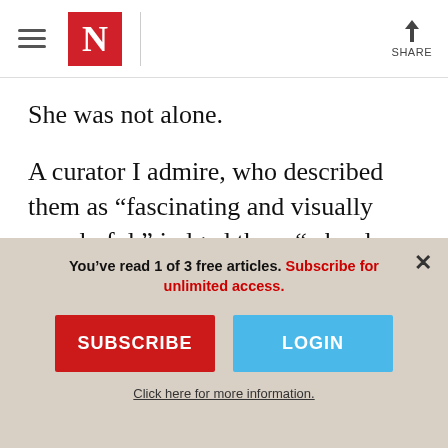The New Yorker — navigation header with hamburger menu, logo N, share button
She was not alone.
A curator I admire, who described them as “fascinating and visually wonderful,” judged them “a hard a topic for an art museum,” and suggested they might be shown instead at the Museum of African American History and Culture in Washington, DC. Since when are
You’ve read 1 of 3 free articles. Subscribe for unlimited access.
SUBSCRIBE
LOGIN
Click here for more information.